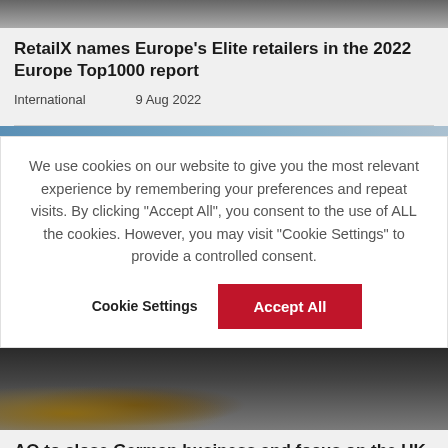[Figure (photo): Partial photograph strip at the top of the page, dark/muted tones]
RetailX names Europe’s Elite retailers in the 2022 Europe Top1000 report
International    9 Aug 2022
[Figure (photo): Thin blue-grey image strip]
We use cookies on our website to give you the most relevant experience by remembering your preferences and repeat visits. By clicking “Accept All”, you consent to the use of ALL the cookies. However, you may visit “Cookie Settings” to provide a controlled consent.
Cookie Settings   Accept All
[Figure (photo): Dark photograph showing a person's legs and what appears to be a delivery trolley or equipment on a street]
AO to close German business and focus on the UK market